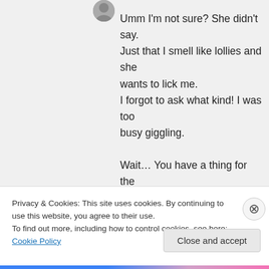Umm I'm not sure? She didn't say. Just that I smell like lollies and she wants to lick me.
I forgot to ask what kind! I was too busy giggling.

Wait… You have a thing for the backs of people's knees? My wifey does. She thinks it's one of those softest places and shoves her finger
Privacy & Cookies: This site uses cookies. By continuing to use this website, you agree to their use.
To find out more, including how to control cookies, see here: Cookie Policy